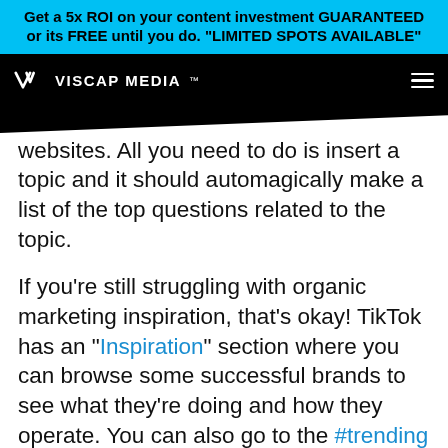Get a 5x ROI on your content investment GUARANTEED or its FREE until you do. "LIMITED SPOTS AVAILABLE"
[Figure (logo): Viscap Media logo and navigation bar with hamburger menu]
websites. All you need to do is insert a topic and it should automagically make a list of the top questions related to the topic.
If you’re still struggling with organic marketing inspiration, that’s okay! TikTok has an “Inspiration” section where you can browse some successful brands to see what they’re doing and how they operate. You can also go to the #trending page to see what kind of content is making it to the